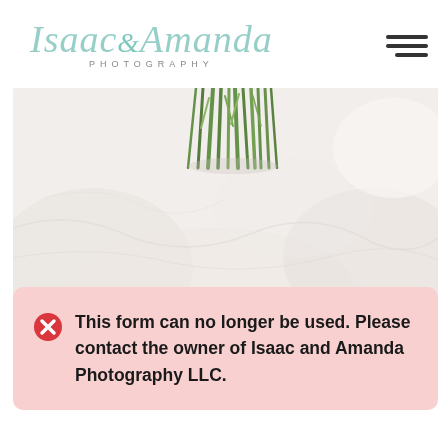Isaac & Amanda PHOTOGRAPHY
[Figure (photo): Wedding bouquet with green stems held against white fabric dress, cropped view showing top of bouquet and fabric]
This form can no longer be used. Please contact the owner of Isaac and Amanda Photography LLC.